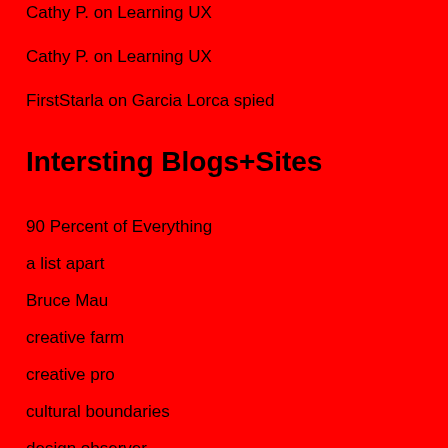Cathy P. on Learning UX
Cathy P. on Learning UX
FirstStarla on Garcia Lorca spied
Intersting Blogs+Sites
90 Percent of Everything
a list apart
Bruce Mau
creative farm
creative pro
cultural boundaries
design observer
designthinkers
emancipate oluwakemi
emily chang
hot studio